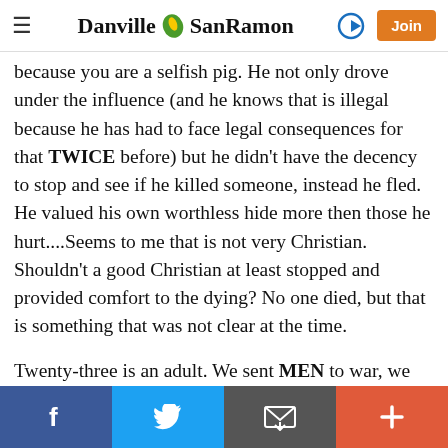Danville SanRamon — navigation header with hamburger menu, logo, sign-in arrow, and Join button
because you are a selfish pig. He not only drove under the influence (and he knows that is illegal because he has had to face legal consequences for that TWICE before) but he didn't have the decency to stop and see if he killed someone, instead he fled. He valued his own worthless hide more then those he hurt....Seems to me that is not very Christian. Shouldn't a good Christian at least stopped and provided comfort to the dying? No one died, but that is something that was not clear at the time.
Twenty-three is an adult. We sent MEN to war, we execute them for their crimes, we expect them to be solid citizens by then. He is not a boy and yes it is a shame that is life is ruined. Perhaps he should have taken some care
Social share bar: Facebook, Twitter, Email, Plus